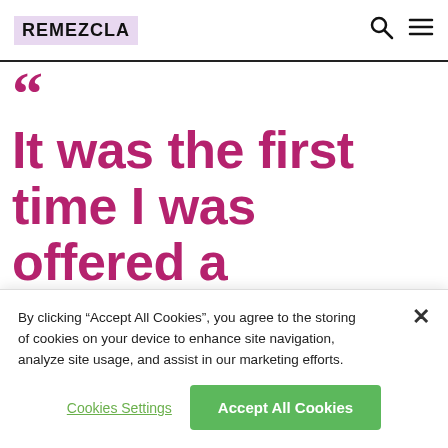REMEZCLA
“It was the first time I was offered a character not specifically written
By clicking “Accept All Cookies”, you agree to the storing of cookies on your device to enhance site navigation, analyze site usage, and assist in our marketing efforts.
Cookies Settings
Accept All Cookies